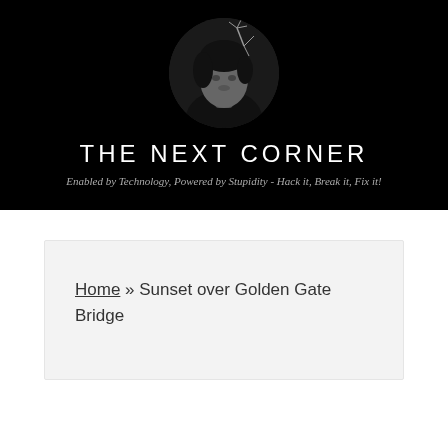[Figure (photo): Circular black and white portrait photo of a man with dark hair, looking sideways, with a decorative branch element above his head, set against a black background.]
THE NEXT CORNER
Enabled by Technology, Powered by Stupidity - Hack it, Break it, Fix it!
Home » Sunset over Golden Gate Bridge